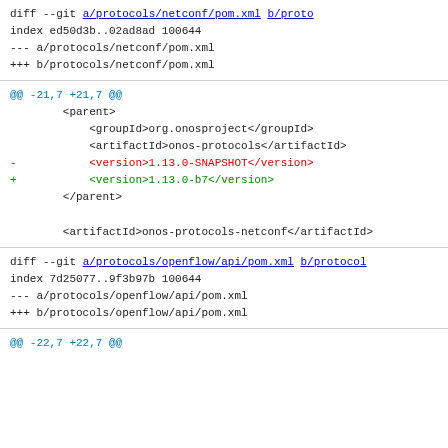diff --git a/protocols/netconf/pom.xml b/protocols/netconf/pom.xml
index ed50d3b..02ad8ad 100644
--- a/protocols/netconf/pom.xml
+++ b/protocols/netconf/pom.xml
@@ -21,7 +21,7 @@
        <parent>
            <groupId>org.onosproject</groupId>
            <artifactId>onos-protocols</artifactId>
-           <version>1.13.0-SNAPSHOT</version>
+           <version>1.13.0-b7</version>
        </parent>

        <artifactId>onos-protocols-netconf</artifactId>
diff --git a/protocols/openflow/api/pom.xml b/protocols/openflow/api/pom.xml
index 7d25077..9f3b97b 100644
--- a/protocols/openflow/api/pom.xml
+++ b/protocols/openflow/api/pom.xml
@@ -22,7 +22,7 @@